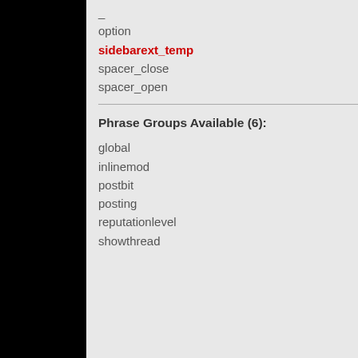_
option
sidebarext_temp
spacer_close
spacer_open
Phrase Groups Available (6):
global
inlinemod
postbit
posting
reputationlevel
showthread